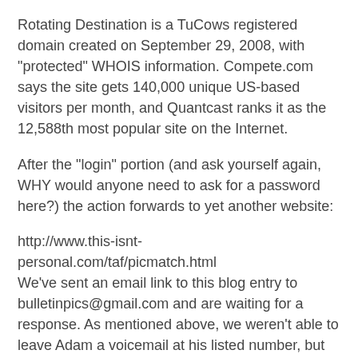Rotating Destination is a TuCows registered domain created on September 29, 2008, with "protected" WHOIS information. Compete.com says the site gets 140,000 unique US-based visitors per month, and Quantcast ranks it as the 12,588th most popular site on the Internet.
After the "login" portion (and ask yourself again, WHY would anyone need to ask for a password here?) the action forwards to yet another website:
http://www.this-isnt-personal.com/taf/picmatch.html
We've sent an email link to this blog entry to bulletinpics@gmail.com and are waiting for a response. As mentioned above, we weren't able to leave Adam a voicemail at his listed number, but the people at Alexis Park were much more helpful. Adam is no longer the GM at their resort. I've left a voicemail for their webmaster/computer guy at the resort, and hopefully that will get us somewhere further. It should be enough to get Moniker to "unregister" all the domains, we hope . . .
The site CLAIMS to be a "prank" site, where ultimately your